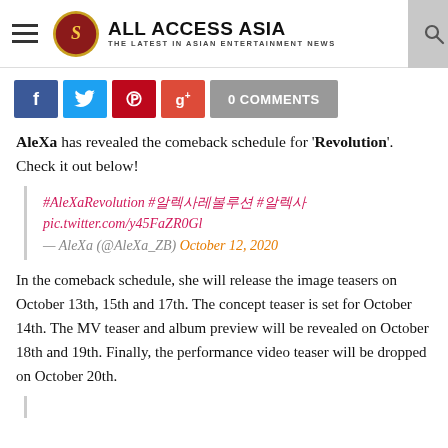ALL ACCESS ASIA — THE LATEST IN ASIAN ENTERTAINMENT NEWS
[Figure (screenshot): Social share buttons: Facebook, Twitter, Pinterest, Google+, and 0 Comments]
AleXa has revealed the comeback schedule for 'Revolution'. Check it out below!
#AleXaRevolution #알렉사레볼루션 #알렉사 pic.twitter.com/y45FaZR0Gl — AleXa (@AleXa_ZB) October 12, 2020
In the comeback schedule, she will release the image teasers on October 13th, 15th and 17th. The concept teaser is set for October 14th. The MV teaser and album preview will be revealed on October 18th and 19th. Finally, the performance video teaser will be dropped on October 20th.